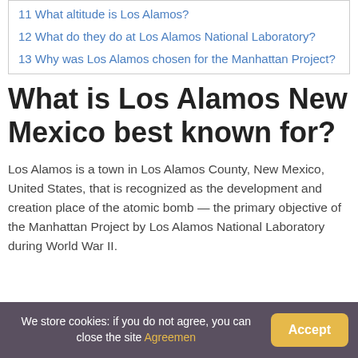11 What altitude is Los Alamos?
12 What do they do at Los Alamos National Laboratory?
13 Why was Los Alamos chosen for the Manhattan Project?
What is Los Alamos New Mexico best known for?
Los Alamos is a town in Los Alamos County, New Mexico, United States, that is recognized as the development and creation place of the atomic bomb — the primary objective of the Manhattan Project by Los Alamos National Laboratory during World War II.
We store cookies: if you do not agree, you can close the site Agreemen